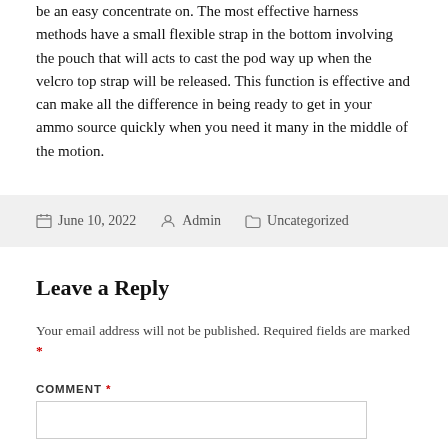be an easy concentrate on. The most effective harness methods have a small flexible strap in the bottom involving the pouch that will acts to cast the pod way up when the velcro top strap will be released. This function is effective and can make all the difference in being ready to get in your ammo source quickly when you need it many in the middle of the motion.
June 10, 2022  Admin  Uncategorized
Leave a Reply
Your email address will not be published. Required fields are marked *
COMMENT *